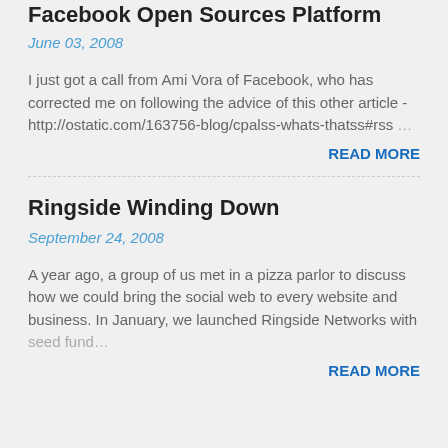Facebook Open Sources Platform
June 03, 2008
I just got a call from Ami Vora of Facebook, who has corrected me on following the advice of this other article - http://ostatic.com/163756-blog/cpalss-whats-thatss#rss …
READ MORE
Ringside Winding Down
September 24, 2008
A year ago, a group of us met in a pizza parlor to discuss how we could bring the social web to every website and business. In January, we launched Ringside Networks with seed fund… …
READ MORE